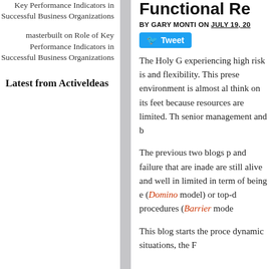Key Performance Indicators in Successful Business Organizations
masterbuilt on Role of Key Performance Indicators in Successful Business Organizations
Latest from Activeldeas
Functional Re
BY GARY MONTI ON JULY 19, 20
Tweet
The Holy G experiencing high risk is and flexibility. This prese environment is almost al think on its feet because resources are limited. Th senior management and b
The previous two blogs p and failure that are inade are still alive and well in limited in term of being e (Domino model) or top-d procedures (Barrier mode
This blog starts the proce dynamic situations, the F